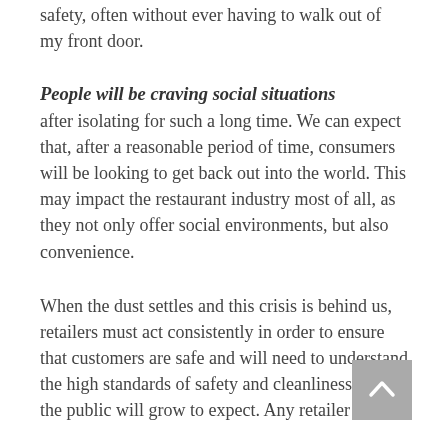safety, often without ever having to walk out of my front door.
People will be craving social situations
after isolating for such a long time. We can expect that, after a reasonable period of time, consumers will be looking to get back out into the world. This may impact the restaurant industry most of all, as they not only offer social environments, but also convenience.
When the dust settles and this crisis is behind us, retailers must act consistently in order to ensure that customers are safe and will need to understand the high standards of safety and cleanliness that the public will grow to expect. Any retailer that